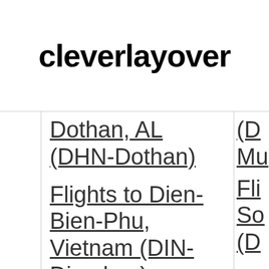cleverlayover
Dothan, AL (DHN-Dothan)
Flights to Dien-Bien-Phu, Vietnam (DIN-Diemlam)
(D Mu
Fli So (D